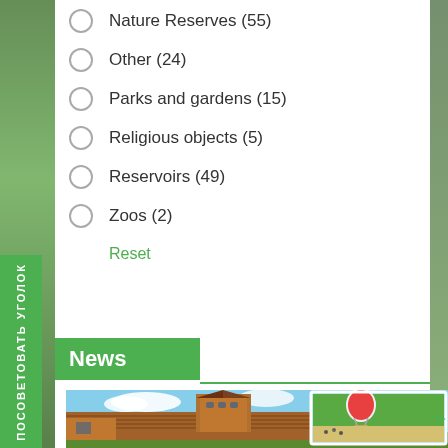Nature Reserves (55)
Other (24)
Parks and gardens (15)
Religious objects (5)
Reservoirs (49)
Zoos (2)
Reset
News
[Figure (photo): Composite photo showing a wooden fortress/log building with a tower under blue sky, with a hot air balloon photo and festival scene inset on the right side.]